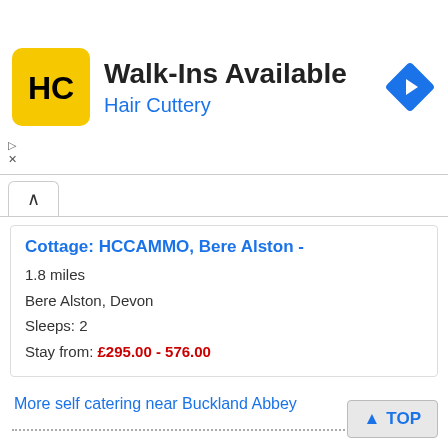[Figure (screenshot): Hair Cuttery advertisement banner. Yellow logo with 'HC' text, headline 'Walk-Ins Available', subtext 'Hair Cuttery' in blue, and a blue diamond-shaped navigation arrow on the right.]
Cottage: HCCAMMO, Bere Alston - 1.8 miles
Bere Alston, Devon
Sleeps: 2
Stay from: £295.00 - 576.00
More self catering near Buckland Abbey
NEAREST HOTELS
[Figure (photo): Partial hotel thumbnail image at bottom of page.]